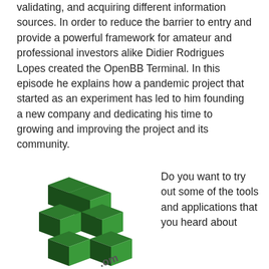validating, and acquiring different information sources. In order to reduce the barrier to entry and provide a powerful framework for amateur and professional investors alike Didier Rodrigues Lopes created the OpenBB Terminal. In this episode he explains how a pandemic project that started as an experiment has led to him founding a new company and dedicating his time to growing and improving the project and its community.
[Figure (logo): 3D green and black stacked cubes logo for OpenBB Terminal, with partial text '.om' visible at bottom]
Do you want to try out some of the tools and applications that you heard about